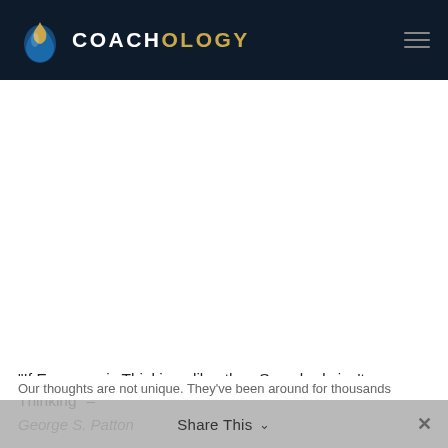COACHOLOGY
[Figure (logo): Coachology logo with flame/droplet icon in blue and gold, with text COACHOLOGY in gold and white]
“If Everyone is Thinking alike, then Somebody isn’t Thinking” – George S. Patton
Our thoughts are not unique. They’ve been around for thousands